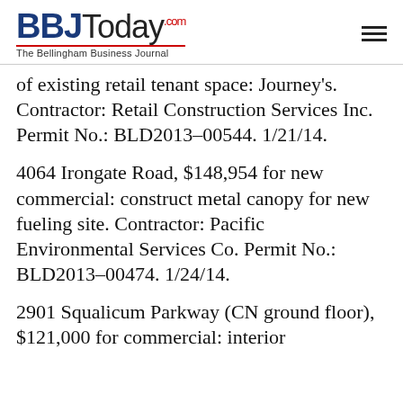BBJToday.com — The Bellingham Business Journal
of existing retail tenant space: Journey's. Contractor: Retail Construction Services Inc. Permit No.: BLD2013-00544. 1/21/14.
4064 Irongate Road, $148,954 for new commercial: construct metal canopy for new fueling site. Contractor: Pacific Environmental Services Co. Permit No.: BLD2013-00474. 1/24/14.
2901 Squalicum Parkway (CN ground floor), $121,000 for commercial: interior